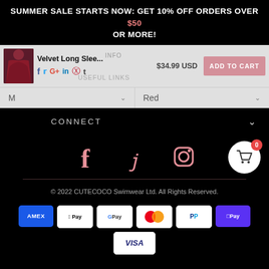SUMMER SALE STARTS NOW: GET 10% OFF ORDERS OVER $50 OR MORE!
Velvet Long Slee... $34.99 USD ADD TO CART
M   Red
CONNECT
[Figure (infographic): Social media icons: Facebook, Pinterest, Instagram on black background with floating cart button showing 0 items]
© 2022 CUTECOCO Swimwear Ltd. All Rights Reserved.
[Figure (infographic): Payment method logos: AMEX, Apple Pay, Google Pay, Mastercard, PayPal, Shop Pay, Visa]